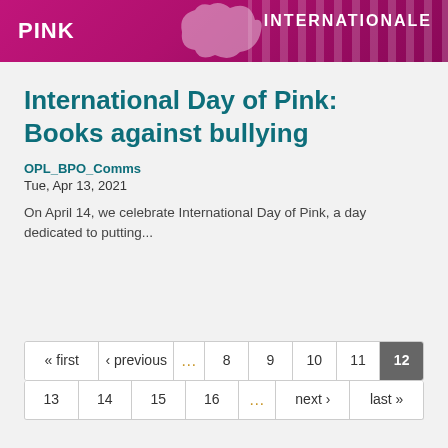[Figure (illustration): Pink banner with PINK text on left, INTERNATIONALE text on right, decorative shape in center, diagonal stripe pattern on right side, magenta/pink gradient background]
International Day of Pink: Books against bullying
OPL_BPO_Comms
Tue, Apr 13, 2021
On April 14, we celebrate International Day of Pink, a day dedicated to putting...
« first ‹ previous ... 8 9 10 11 12 13 14 15 16 ... next › last »